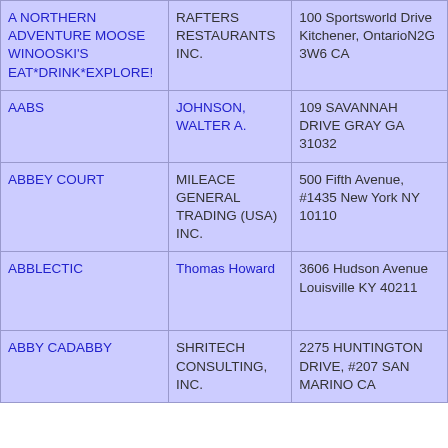| A NORTHERN ADVENTURE MOOSE WINOOSKI'S EAT*DRINK*EXPLORE! | RAFTERS RESTAURANTS INC. | 100 Sportsworld Drive Kitchener, OntarioN2G 3W6 CA |
| AABS | JOHNSON, WALTER A. | 109 SAVANNAH DRIVE GRAY GA 31032 |
| ABBEY COURT | MILEACE GENERAL TRADING (USA) INC. | 500 Fifth Avenue, #1435 New York NY 10110 |
| ABBLECTIC | Thomas Howard | 3606 Hudson Avenue Louisville KY 40211 |
| ABBY CADABBY | SHRITECH CONSULTING, INC. | 2275 HUNTINGTON DRIVE, #207 SAN MARINO CA |